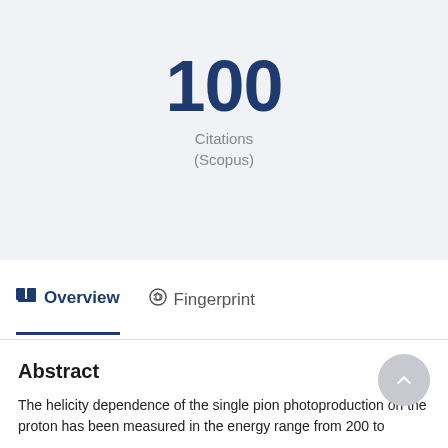100
Citations
(Scopus)
Overview
Fingerprint
Abstract
The helicity dependence of the single pion photoproduction on the proton has been measured in the energy range from 200 to